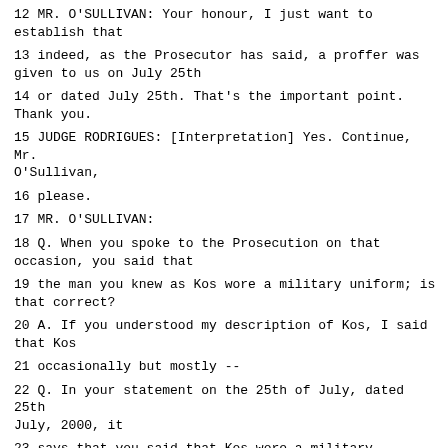12 MR. O'SULLIVAN: Your honour, I just want to establish that
13 indeed, as the Prosecutor has said, a proffer was given to us on July 25th
14 or dated July 25th. That's the important point. Thank you.
15 JUDGE RODRIGUES: [Interpretation] Yes. Continue, Mr. O'Sullivan,
16 please.
17 MR. O'SULLIVAN:
18 Q. When you spoke to the Prosecution on that occasion, you said that
19 the man you knew as Kos wore a military uniform; is that correct?
20 A. If you understood my description of Kos, I said that Kos
21 occasionally but mostly --
22 Q. In your statement on the 25th of July, dated 25th July, 2000, it
23 says that you said that Kos wore a military uniform. Did you say that